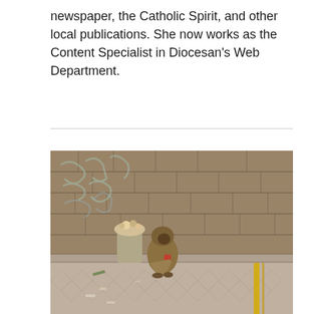newspaper, the Catholic Spirit, and other local publications. She now works as the Content Specialist in Diocesan's Web Department.
[Figure (photo): A person in a hooded jacket crouched against a stone wall covered with graffiti, sitting next to an overflowing trash bin on a patterned tiled plaza with a yellow stripe.]